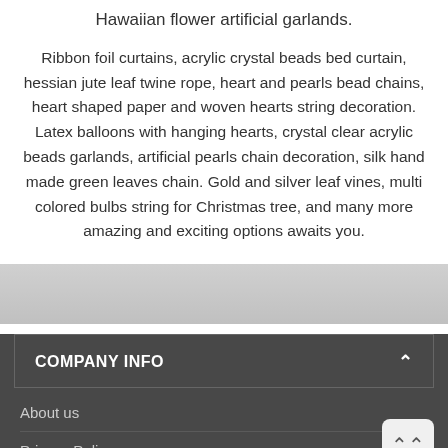Hawaiian flower artificial garlands.
Ribbon foil curtains, acrylic crystal beads bed curtain, hessian jute leaf twine rope, heart and pearls bead chains, heart shaped paper and woven hearts string decoration. Latex balloons with hanging hearts, crystal clear acrylic beads garlands, artificial pearls chain decoration, silk hand made green leaves chain. Gold and silver leaf vines, multi colored bulbs string for Christmas tree, and many more amazing and exciting options awaits you.
COMPANY INFO
About us
Privacy Policy
Terms and Conditions